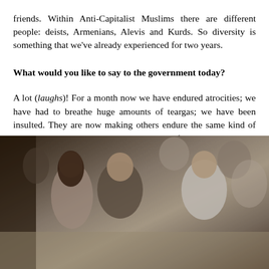friends. Within Anti-Capitalist Muslims there are different people: deists, Armenians, Alevis and Kurds. So diversity is something that we've already experienced for two years.
What would you like to say to the government today?
A lot (laughs)! For a month now we have endured atrocities; we have had to breathe huge amounts of teargas; we have been insulted. They are now making others endure the same kind of oppression that they have experienced for years. I cannot understand that.
[Figure (photo): A group of people sitting together outdoors on the ground, in a crowd. A young woman with long hair is visible on the left, an older man in a dark jacket is in the center, and a woman in a white t-shirt is on the right with her hands raised. Other people are visible in the background.]